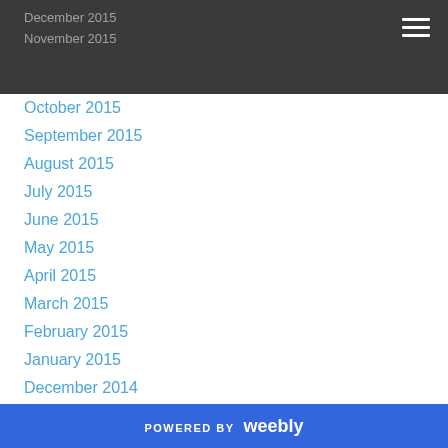December 2015
November 2015
October 2015
September 2015
August 2015
July 2015
June 2015
May 2015
April 2015
March 2015
February 2015
January 2015
December 2014
November 2014
October 2014
September 2014
August 2014
POWERED BY weebly